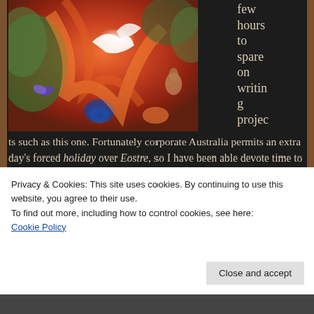[Figure (illustration): Colorful fantasy illustration showing swirling orange-red hair, white birds/doves, butterflies, rabbits, and blue peacock feathers in a vibrant painterly style]
few hours to spare on writing projects such as this one. Fortunately corporate Australia permits an extra day's forced holiday over Eostre, so I have been able devote time to penning something on the tafaska cause; a cause, I might add, swamped by ambiguous sentiment. Easter, as with the other Christian-Pagan festival
Privacy & Cookies: This site uses cookies. By continuing to use this website, you agree to their use.
To find out more, including how to control cookies, see here: Cookie Policy
Close and accept